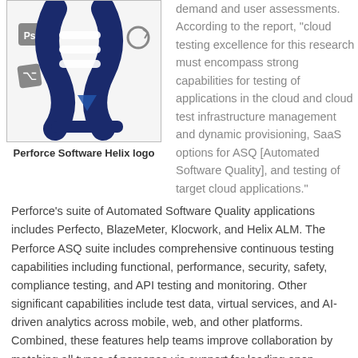[Figure (logo): Perforce Software Helix logo — a DNA helix design in dark blue with horizontal lines, accompanied by small icons for Photoshop and Git on the left side.]
demand and user assessments. According to the report, “cloud testing excellence for this research must encompass strong capabilities for testing of applications in the cloud and cloud test infrastructure management and dynamic provisioning, SaaS options for ASQ [Automated Software Quality], and testing of target cloud applications.”
Perforce Software Helix logo
Perforce’s suite of Automated Software Quality applications includes Perfecto, BlazeMeter, Klocwork, and Helix ALM. The Perforce ASQ suite includes comprehensive continuous testing capabilities including functional, performance, security, safety, compliance testing, and API testing and monitoring. Other significant capabilities include test data, virtual services, and AI-driven analytics across mobile, web, and other platforms. Combined, these features help teams improve collaboration by matching all types of personas via support for leading open-source frameworks and low-code test creation. The Cloud Testing report states:
“Perforce purpose builds its products to help enable DevOps at scale.